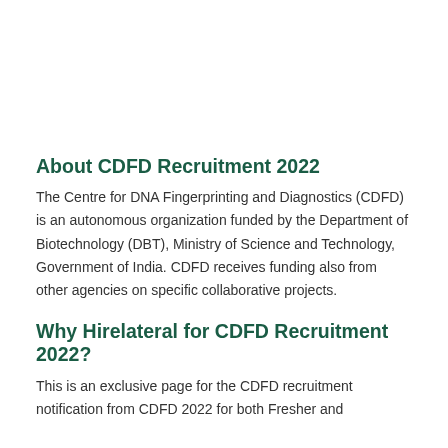About CDFD Recruitment 2022
The Centre for DNA Fingerprinting and Diagnostics (CDFD) is an autonomous organization funded by the Department of Biotechnology (DBT), Ministry of Science and Technology, Government of India. CDFD receives funding also from other agencies on specific collaborative projects.
Why Hirelateral for CDFD Recruitment 2022?
This is an exclusive page for the CDFD recruitment notification from CDFD 2022 for both Fresher and